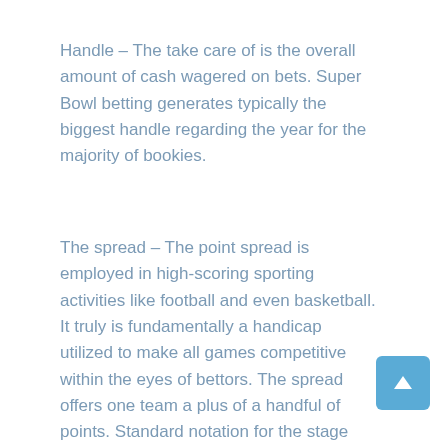Handle – The take care of is the overall amount of cash wagered on bets. Super Bowl betting generates typically the biggest handle regarding the year for the majority of bookies.
The spread – The point spread is employed in high-scoring sporting activities like football and even basketball. It truly is fundamentally a handicap utilized to make all games competitive within the eyes of bettors. The spread offers one team a plus of a handful of points. Standard notation for the stage spread shows the particular favored team initial, followed by a new negative number (the actual spread). The particular home team is shown in capital letters.